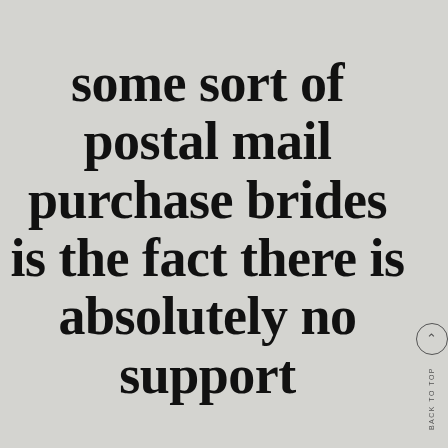some sort of postal mail purchase brides is the fact there is absolutely no support